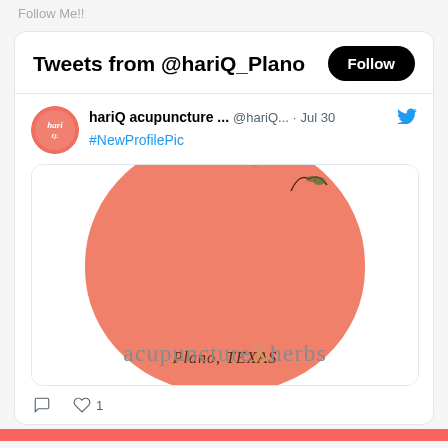Follow Me!!
Tweets from @hariQ_Plano
[Figure (screenshot): Twitter/X tweet card from @hariQ_Plano (hariQ acupuncture...) posted Jul 30, showing #NewProfilePic with an image of a circular logo showing 'Plano, TEXAS' and 'acupunctureXherbs' text. 1 like shown.]